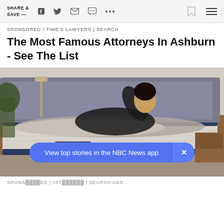SHARE & SAVE —
SPONSORED / TIME'S LAWYERS | SEARCH
The Most Famous Attorneys In Ashburn - See The List
[Figure (photo): Woman lying on an adjustable Serta iComfort mattress on a wooden bed frame in a stylish bedroom setting]
View top stories in the NBC News app
SPONSORED | ATTORNEYS | SEARCH ADS